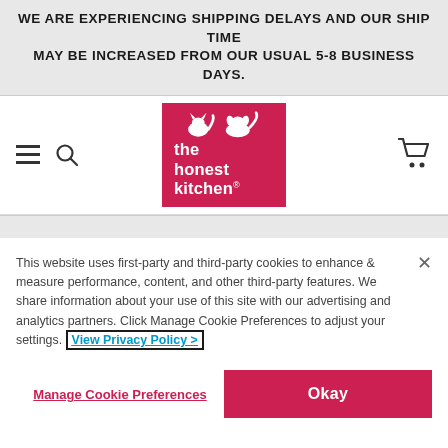WE ARE EXPERIENCING SHIPPING DELAYS AND OUR SHIP TIME MAY BE INCREASED FROM OUR USUAL 5-8 BUSINESS DAYS.
[Figure (logo): The Honest Kitchen logo — pink/red square with white silhouettes of a cat and dog above the text 'the honest kitchen']
This website uses first-party and third-party cookies to enhance & measure performance, content, and other third-party features. We share information about your use of this site with our advertising and analytics partners. Click Manage Cookie Preferences to adjust your settings. View Privacy Policy >
Manage Cookie Preferences
Okay